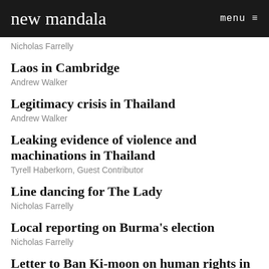new mandala   menu ≡
Nicholas Farrelly
Laos in Cambridge
Andrew Walker
Legitimacy crisis in Thailand
Andrew Walker
Leaking evidence of violence and machinations in Thailand
Tyrell Haberkorn, Guest Contributor
Line dancing for The Lady
Nicholas Farrelly
Local reporting on Burma's election
Nicholas Farrelly
Letter to Ban Ki-moon on human rights in Thailand
Andrew Walker